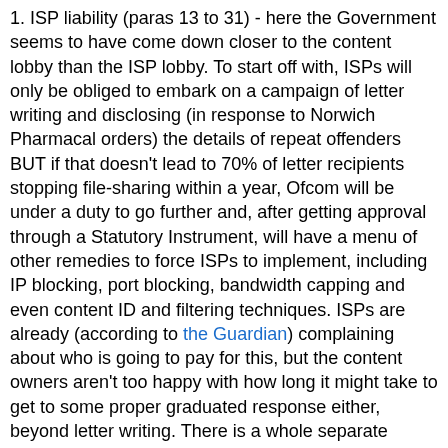1. ISP liability (paras 13 to 31) - here the Government seems to have come down closer to the content lobby than the ISP lobby. To start off with, ISPs will only be obliged to embark on a campaign of letter writing and disclosing (in response to Norwich Pharmacal orders) the details of repeat offenders BUT if that doesn't lead to 70% of letter recipients stopping file-sharing within a year, Ofcom will be under a duty to go further and, after getting approval through a Statutory Instrument, will have a menu of other remedies to force ISPs to implement, including IP blocking, port blocking, bandwidth capping and even content ID and filtering techniques. ISPs are already (according to the Guardian) complaining about who is going to pay for this, but the content owners aren't too happy with how long it might take to get to some proper graduated response either, beyond letter writing. There is a whole separate consultation on the legislation to achieve this, available here.
2. Orphan works (paras 39 to 47) - the government is going to remove criminal sanctions and introduce a regulatory framework to allow orphan works exploitation schemes to be set up - possibly with a move towards "extended licensing" through collecting societies on the Scandinavian model